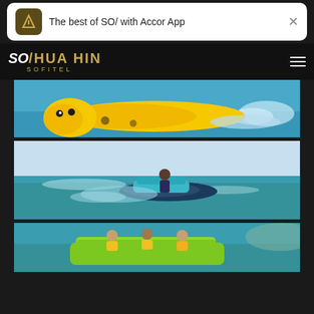[Figure (screenshot): App banner: Accor app icon with text 'The best of SO/ with Accor App' and a close (X) button]
[Figure (screenshot): SO/ Hua Hin Sofitel hotel website navigation bar with logo on left and hamburger menu on right]
[Figure (photo): Yellow inflatable banana boat being towed on water with splashing waves]
[Figure (photo): Person riding a jet ski on turquoise sea water]
[Figure (photo): People on a bright green inflatable sofa/couch water ride, wearing life jackets]